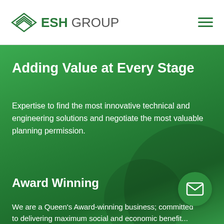ESH GROUP
Adding Value at Every Stage
Expertise to find the most innovative technical and engineering solutions and negotiate the most valuable planning permission.
Award Winning
We are a Queen's Award-winning business; committed to delivering maximum social and economic benefit...